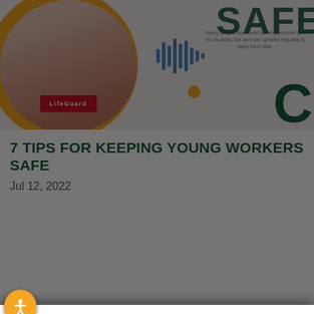[Figure (screenshot): Website screenshot showing a lifeguard in red shirt with LIFEGUARD text, audio waveform icon, orange dot decoration, partial SAFE text and green C visible in top right, with article title below]
7 TIPS FOR KEEPING YOUNG WORKERS SAFE
Jul 12, 2022
Manage Cookie Consent
To provide the best experiences, we use technologies like cookies to store and/or access device information. Consenting to these technologies will allow us to process data such as browsing behavior or unique IDs on this site. Not consenting or withdrawing consent, may adversely affect certain features and functions.
Accept
Cookie Policy   Privacy Statement